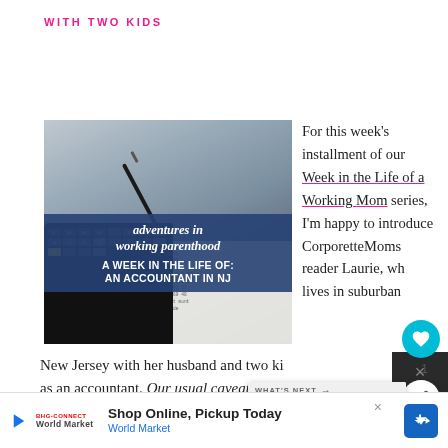WITH TWO KIDS
[Figure (photo): Photo of a calculator on top of financial ledger papers with a pen, overlaid with blue banner text reading 'adventures in working parenthood / A WEEK IN THE LIFE OF: AN ACCOUNTANT IN NJ']
For this week's installment of our Week in the Life of a Working Mom series, I'm happy to introduce CorporetteMoms reader Laurie, who lives in suburban New Jersey with her husband and two ki... as an accountant. Our usual caveat applies: Please
[Figure (screenshot): WHAT'S NEXT widget showing 'Week in the Life of a...' with a city skyline thumbnail]
Shop Online, Pickup Today — World Market (advertisement)